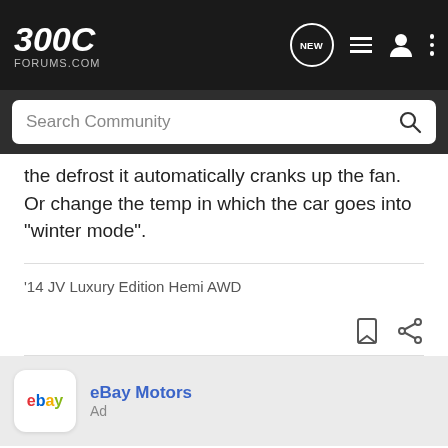300C FORUMS.COM
the defrost it automatically cranks up the fan. Or change the temp in which the car goes into "winter mode".
'14 JV Luxury Edition Hemi AWD
[Figure (other): eBay Motors advertisement with eBay logo]
Have a project in the works?
Get every part and accessory your ride needs.